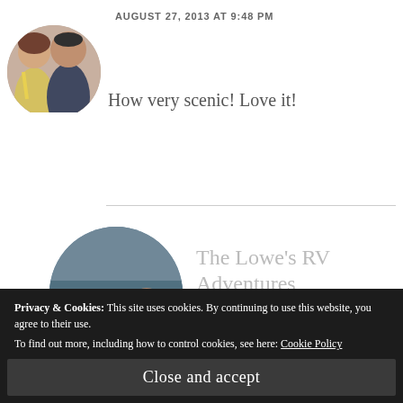[Figure (photo): Circular avatar photo of a couple, partially cropped at top]
AUGUST 27, 2013 AT 9:48 PM
How very scenic! Love it!
[Figure (photo): Circular avatar photo of two people wearing headsets in what appears to be a helicopter]
The Lowe's RV Adventures
AUGUST 29, 2013 AT 3:30 PM
Maybe you would like to plan and visit here next summer.
Privacy & Cookies: This site uses cookies. By continuing to use this website, you agree to their use.
To find out more, including how to control cookies, see here: Cookie Policy
Close and accept
[Figure (photo): Partial circular avatar visible at bottom of page]